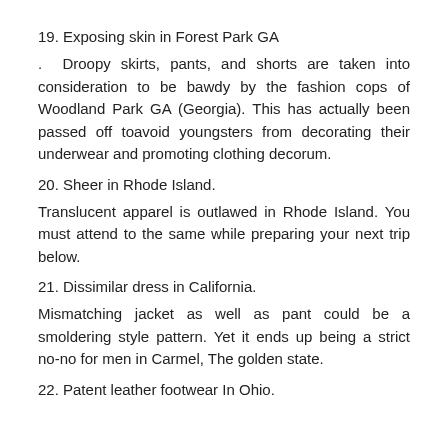19. Exposing skin in Forest Park GA
. Droopy skirts, pants, and shorts are taken into consideration to be bawdy by the fashion cops of Woodland Park GA (Georgia). This has actually been passed off toavoid youngsters from decorating their underwear and promoting clothing decorum.
20. Sheer in Rhode Island.
Translucent apparel is outlawed in Rhode Island. You must attend to the same while preparing your next trip below.
21. Dissimilar dress in California.
Mismatching jacket as well as pant could be a smoldering style pattern. Yet it ends up being a strict no-no for men in Carmel, The golden state.
22. Patent leather footwear In Ohio.